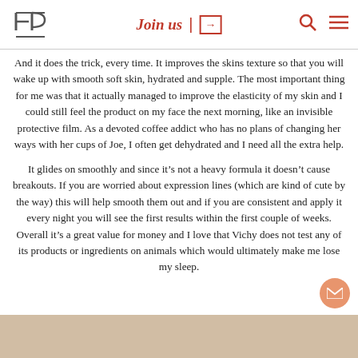FP | Join us | [arrow icon] [search icon] [menu icon]
And it does the trick, every time. It improves the skins texture so that you will wake up with smooth soft skin, hydrated and supple. The most important thing for me was that it actually managed to improve the elasticity of my skin and I could still feel the product on my face the next morning, like an invisible protective film. As a devoted coffee addict who has no plans of changing her ways with her cups of Joe, I often get dehydrated and I need all the extra help.
It glides on smoothly and since it’s not a heavy formula it doesn’t cause breakouts. If you are worried about expression lines (which are kind of cute by the way) this will help smooth them out and if you are consistent and apply it every night you will see the first results within the first couple of weeks. Overall it’s a great value for money and I love that Vichy does not test any of its products or ingredients on animals which would ultimately make me lose my sleep.
[Figure (photo): Bottom portion of a lifestyle/beauty photo visible at the bottom of the page]